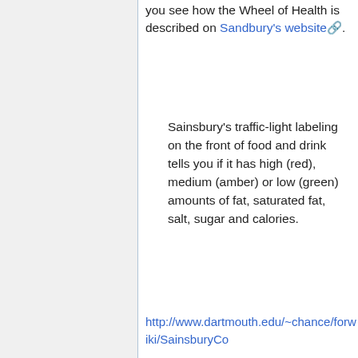you see how the Wheel of Health is described on Sandbury's website.
Sainsbury's traffic-light labeling on the front of food and drink tells you if it has high (red), medium (amber) or low (green) amounts of fat, saturated fat, salt, sugar and calories.
http://www.dartmouth.edu/~chance/forwiki/SainsburyCo...